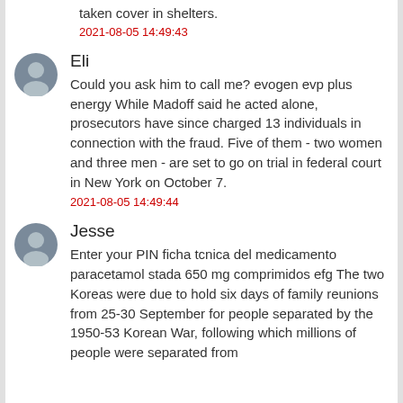taken cover in shelters.
2021-08-05 14:49:43
Eli
Could you ask him to call me? evogen evp plus energy While Madoff said he acted alone, prosecutors have since charged 13 individuals in connection with the fraud. Five of them - two women and three men - are set to go on trial in federal court in New York on October 7.
2021-08-05 14:49:44
Jesse
Enter your PIN ficha tcnica del medicamento paracetamol stada 650 mg comprimidos efg The two Koreas were due to hold six days of family reunions from 25-30 September for people separated by the 1950-53 Korean War, following which millions of people were separated from